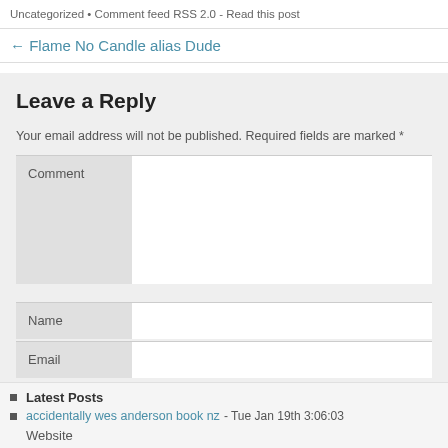Uncategorized • Comment feed RSS 2.0 - Read this post
← Flame No Candle alias Dude
Leave a Reply
Your email address will not be published. Required fields are marked *
Comment
Name
Email
Latest Posts
accidentally wes anderson book nz - Tue Jan 19th 3:06:03
Website